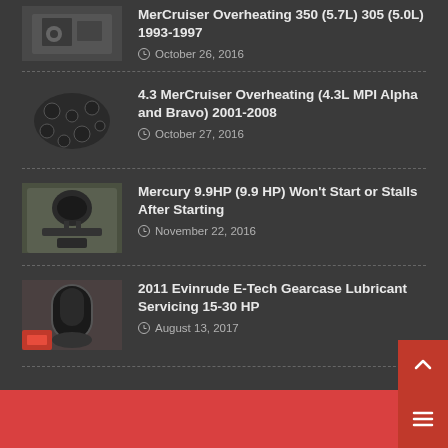[Figure (photo): Partial thumbnail of boat engine/hand, top of page (cropped)]
MerCruiser Overheating 350 (5.7L) 305 (5.0L) 1993-1997
October 26, 2016
[Figure (photo): Thumbnail showing corroded engine block]
4.3 MerCruiser Overheating (4.3L MPI Alpha and Bravo) 2001-2008
October 27, 2016
[Figure (photo): Thumbnail showing Mercury outboard motor top view]
Mercury 9.9HP (9.9 HP) Won't Start or Stalls After Starting
November 22, 2016
[Figure (photo): Thumbnail showing gear lubricant servicing of Evinrude outboard]
2011 Evinrude E-Tech Gearcase Lubricant Servicing 15-30 HP
August 13, 2017